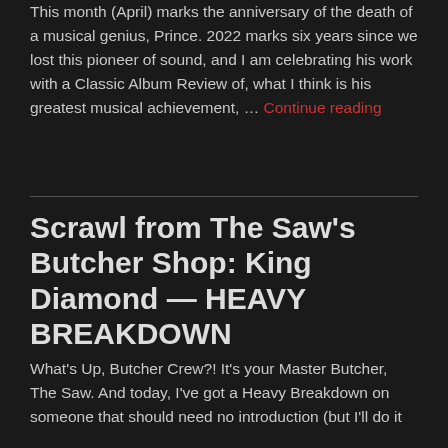This month (April) marks the anniversary of the death of a musical genius, Prince. 2022 marks six years since we lost this pioneer of sound, and I am celebrating his work with a Classic Album Review of, what I think is his greatest musical achievement, … Continue reading
Scrawl from The Saw's Butcher Shop: King Diamond — HEAVY BREAKDOWN
What's Up, Butcher Crew?! It's your Master Butcher, The Saw. And today, I've got a Heavy Breakdown on someone that should need no introduction (but I'll do it anyway): King Diamond. In case King Diamond…